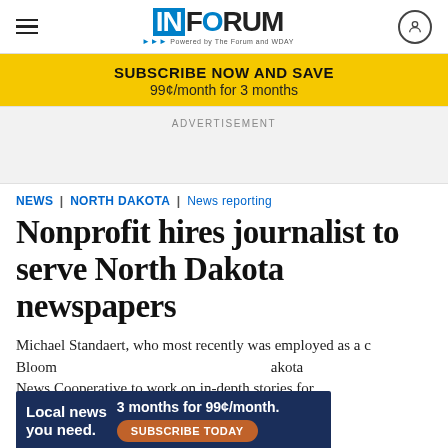InForum — Powered by The Forum and WDAY
SUBSCRIBE NOW AND SAVE
99¢/month for 3 months
ADVERTISEMENT
NEWS | NORTH DAKOTA | News reporting
Nonprofit hires journalist to serve North Dakota newspapers
Michael Standaert, who most recently was employed as a c... Bloomberg ... akota News Cooperative to work on in-depth stories for
Local news you need. — 3 months for 99¢/month. SUBSCRIBE TODAY